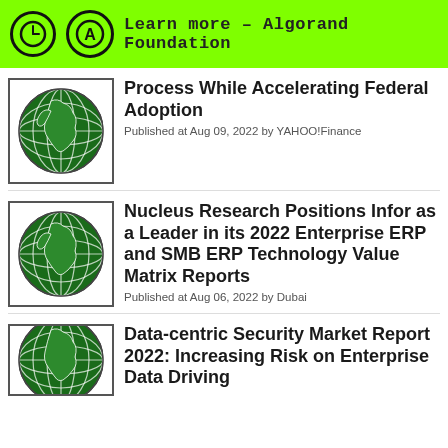Learn more – Algorand Foundation
Process While Accelerating Federal Adoption
Published at Aug 09, 2022 by YAHOO!Finance
Nucleus Research Positions Infor as a Leader in its 2022 Enterprise ERP and SMB ERP Technology Value Matrix Reports
Published at Aug 06, 2022 by Dubai
Data-centric Security Market Report 2022: Increasing Risk on Enterprise Data Driving